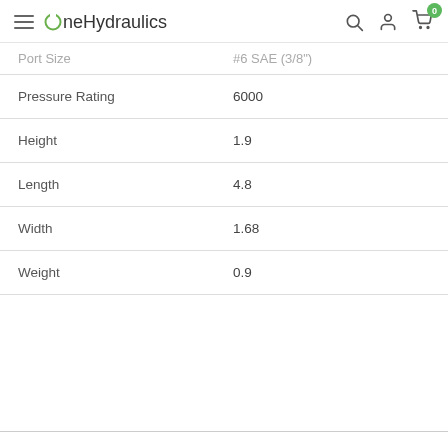OneHydraulics
| Property | Value |
| --- | --- |
| Port Size | #6 SAE (3/8") |
| Pressure Rating | 6000 |
| Height | 1.9 |
| Length | 4.8 |
| Width | 1.68 |
| Weight | 0.9 |